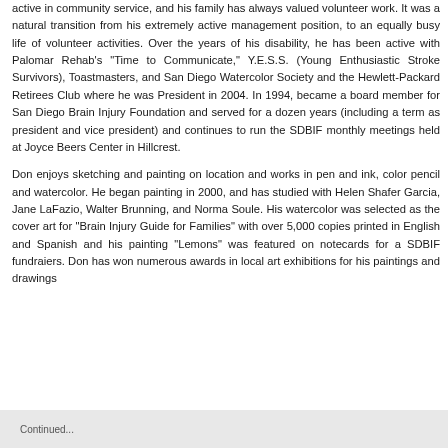active in community service, and his family has always valued volunteer work. It was a natural transition from his extremely active management position, to an equally busy life of volunteer activities. Over the years of his disability, he has been active with Palomar Rehab's "Time to Communicate," Y.E.S.S. (Young Enthusiastic Stroke Survivors), Toastmasters, and San Diego Watercolor Society and the Hewlett-Packard Retirees Club where he was President in 2004. In 1994, became a board member for San Diego Brain Injury Foundation and served for a dozen years (including a term as president and vice president) and continues to run the SDBIF monthly meetings held at Joyce Beers Center in Hillcrest.
Don enjoys sketching and painting on location and works in pen and ink, color pencil and watercolor. He began painting in 2000, and has studied with Helen Shafer Garcia, Jane LaFazio, Walter Brunning, and Norma Soule. His watercolor was selected as the cover art for "Brain Injury Guide for Families" with over 5,000 copies printed in English and Spanish and his painting "Lemons" was featured on notecards for a SDBIF fundraiers. Don has won numerous awards in local art exhibitions for his paintings and drawings
Continued...